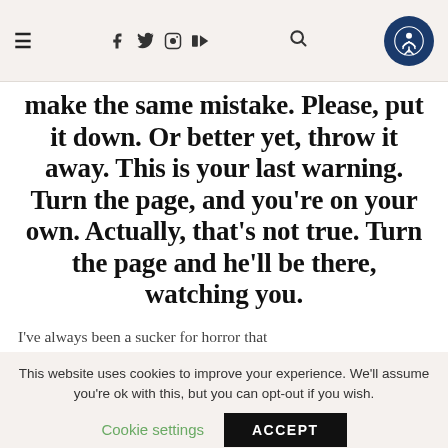≡  f  🐦  📷  ▶  🔍  [accessibility icon]
make the same mistake. Please, put it down. Or better yet, throw it away. This is your last warning. Turn the page, and you're on your own. Actually, that's not true. Turn the page and he'll be there, watching you.
I've always been a sucker for horror that
This website uses cookies to improve your experience. We'll assume you're ok with this, but you can opt-out if you wish.
Cookie settings   ACCEPT